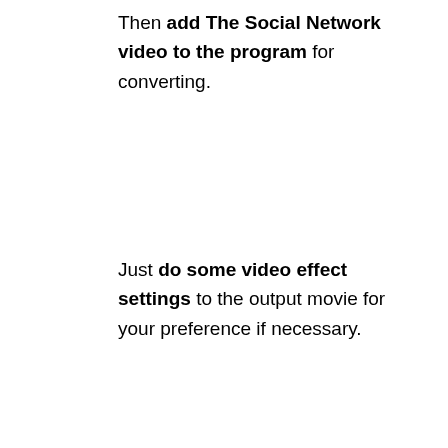Then add The Social Network video to the program for converting.
Just do some video effect settings to the output movie for your preference if necessary.
Start to convert within one click.
Have you got it with these simple steps? If not, you can get detailed information by linking here. Now you